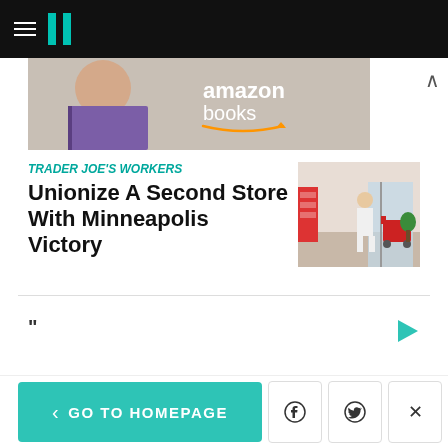HuffPost navigation bar with hamburger menu and logo
[Figure (other): Amazon Books advertisement banner showing a woman reading a book with 'amazon books' text]
Trader Joe's Workers Unionize A Second Store With Minneapolis Victory
[Figure (photo): Photo of a person with a red shopping cart at a Trader Joe's store entrance]
"
[Figure (other): Ad play button icon]
< GO TO HOMEPAGE | Facebook share | Twitter share | Close